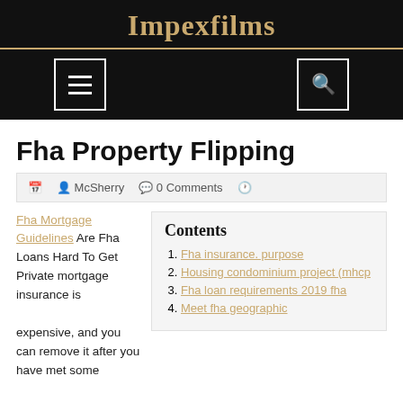Impexfilms
Fha Property Flipping
McSherry  0 Comments
Fha Mortgage Guidelines Are Fha Loans Hard To Get Private mortgage insurance is expensive, and you can remove it after you have met some
1. Fha insurance. purpose
2. Housing condominium project (mhcp
3. Fha loan requirements 2019 fha
4. Meet fha geographic